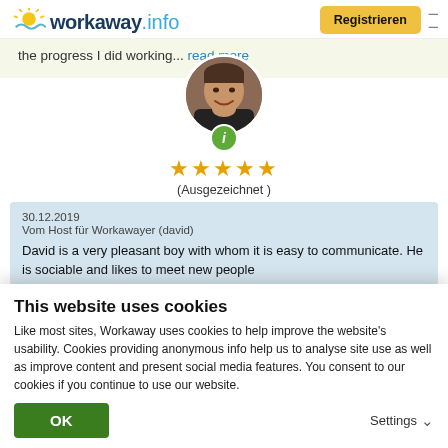[Figure (logo): workaway.info logo with sun icon]
Registrieren
the progress I did working... read more
[Figure (photo): Circular avatar photo of a smiling man with info badge below]
★★★★★ (Ausgezeichnet )
30.12.2019
Vom Host für Workawayer (david)

David is a very pleasant boy with whom it is easy to communicate. He is sociable and likes to meet new people
This website uses cookies
Like most sites, Workaway uses cookies to help improve the website's usability. Cookies providing anonymous info help us to analyse site use as well as improve content and present social media features.  You consent to our cookies if you continue to use our website.
OK
Settings ∨